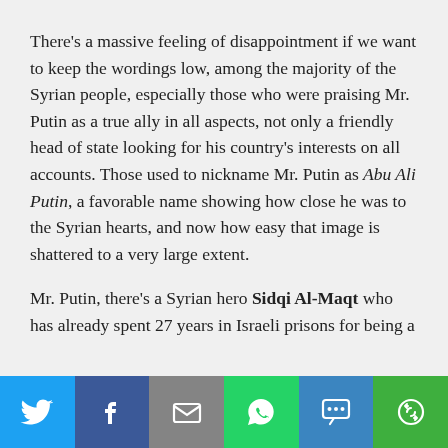There's a massive feeling of disappointment if we want to keep the wordings low, among the majority of the Syrian people, especially those who were praising Mr. Putin as a true ally in all aspects, not only a friendly head of state looking for his country's interests on all accounts. Those used to nickname Mr. Putin as Abu Ali Putin, a favorable name showing how close he was to the Syrian hearts, and now how easy that image is shattered to a very large extent.
Mr. Putin, there's a Syrian hero Sidqi Al-Maqt who has already spent 27 years in Israeli prisons for being a
[Figure (infographic): Social sharing bar with six buttons: Twitter (blue bird icon), Facebook (dark blue f icon), Email (grey envelope icon), WhatsApp (green phone icon), SMS (blue SMS bubble icon), More (green circular arrows icon)]